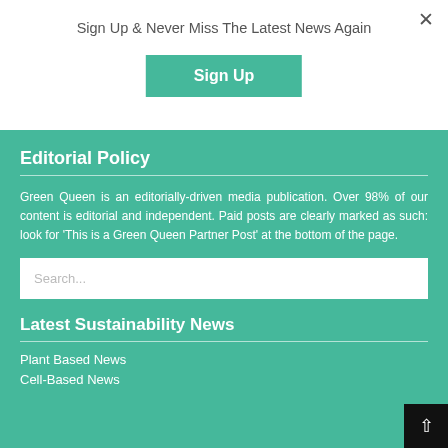Sign Up & Never Miss The Latest News Again
Sign Up
Editorial Policy
Green Queen is an editorially-driven media publication. Over 98% of our content is editorial and independent. Paid posts are clearly marked as such: look for 'This is a Green Queen Partner Post' at the bottom of the page.
Search...
Latest Sustainability News
Plant Based News
Cell-Based News